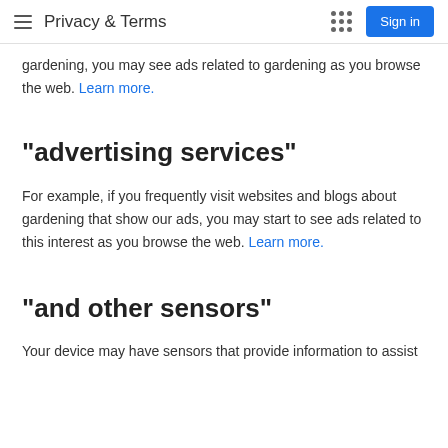Privacy & Terms
gardening, you may see ads related to gardening as you browse the web. Learn more.
"advertising services"
For example, if you frequently visit websites and blogs about gardening that show our ads, you may start to see ads related to this interest as you browse the web. Learn more.
"and other sensors"
Your device may have sensors that provide information to assist in better understanding of your location. For example,